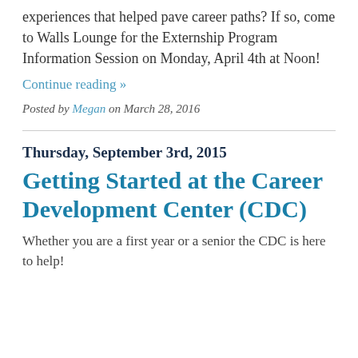experiences that helped pave career paths? If so, come to Walls Lounge for the Externship Program Information Session on Monday, April 4th at Noon!
Continue reading »
Posted by Megan on March 28, 2016
Thursday, September 3rd, 2015
Getting Started at the Career Development Center (CDC)
Whether you are a first year or a senior the CDC is here to help!